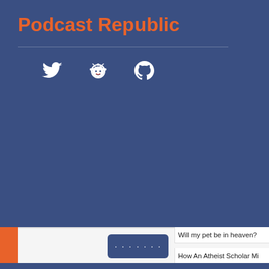Podcast Republic
[Figure (illustration): Three white social media icons: Twitter bird, Reddit alien, GitHub Octocat arranged horizontally on blue background]
Will my pet be in heaven?
How An Atheist Scholar Mi